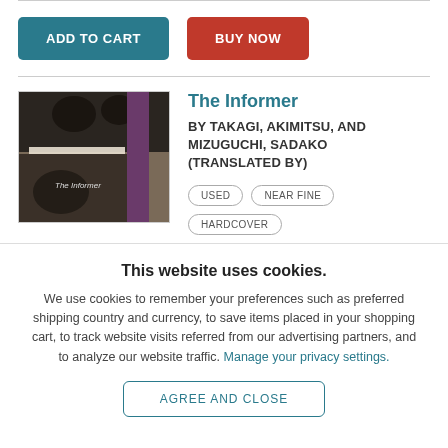ADD TO CART
BUY NOW
[Figure (photo): Photo of the book 'The Informer' showing black and white cover with figures]
The Informer
BY TAKAGI, AKIMITSU, AND MIZUGUCHI, SADAKO (TRANSLATED BY)
USED
NEAR FINE
HARDCOVER
This website uses cookies.
We use cookies to remember your preferences such as preferred shipping country and currency, to save items placed in your shopping cart, to track website visits referred from our advertising partners, and to analyze our website traffic. Manage your privacy settings.
AGREE AND CLOSE